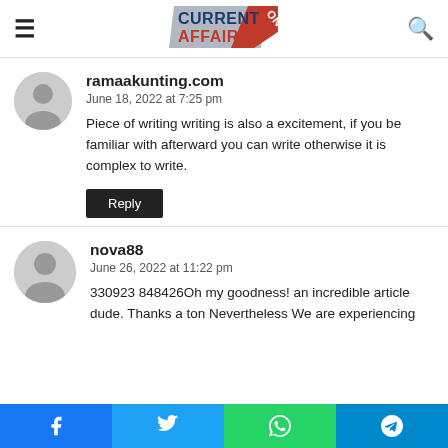Current Affairs Online
ramaakunting.com
June 18, 2022 at 7:25 pm
Piece of writing writing is also a excitement, if you be familiar with afterward you can write otherwise it is complex to write.
Reply
nova88
June 26, 2022 at 11:22 pm
330923 848426Oh my goodness! an incredible article dude. Thanks a ton Nevertheless We are experiencing